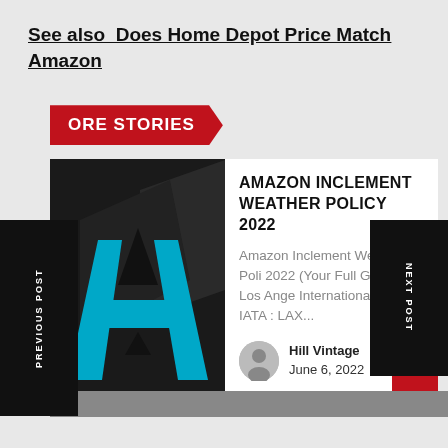See also  Does Home Depot Price Match Amazon
[Figure (screenshot): More Stories red banner with arrow/chevron shape on gray background]
[Figure (photo): Dark background with large cyan/teal letter A logo resembling Amazon branding]
AMAZON INCLEMENT WEATHER POLICY 2022
Amazon Inclement Weather Poli 2022 (Your Full Guide) Los Ange International Airport IATA : LAX...
Hill Vintage
June 6, 2022